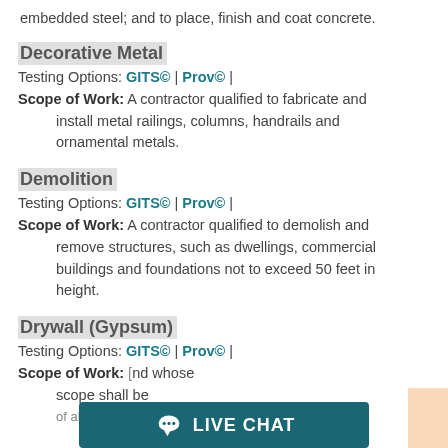embedded steel; and to place, finish and coat concrete.
Decorative Metal
Testing Options: GITS© | Prov© |
Scope of Work: A contractor qualified to fabricate and install metal railings, columns, handrails and ornamental metals.
Demolition
Testing Options: GITS© | Prov© |
Scope of Work: A contractor qualified to demolish and remove structures, such as dwellings, commercial buildings and foundations not to exceed 50 feet in height.
Drywall (Gypsum)
Testing Options: GITS© | Prov© |
Scope of Work: [partially obscured] and whose scope shall be [partially obscured] of all